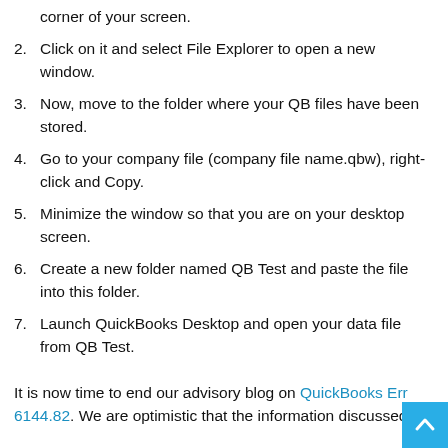corner of your screen.
2. Click on it and select File Explorer to open a new window.
3. Now, move to the folder where your QB files have been stored.
4. Go to your company file (company file name.qbw), right-click and Copy.
5. Minimize the window so that you are on your desktop screen.
6. Create a new folder named QB Test and paste the file into this folder.
7. Launch QuickBooks Desktop and open your data file from QB Test.
It is now time to end our advisory blog on QuickBooks Err 6144.82. We are optimistic that the information discussed